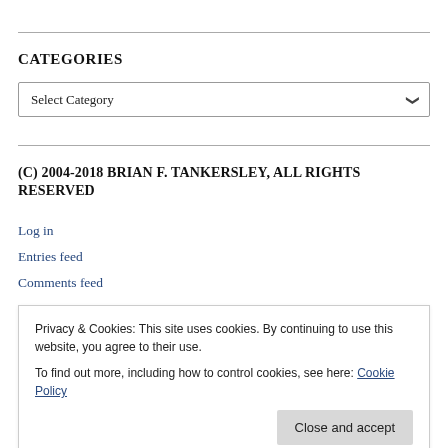CATEGORIES
Select Category
(C) 2004-2018 BRIAN F. TANKERSLEY, ALL RIGHTS RESERVED
Log in
Entries feed
Comments feed
Privacy & Cookies: This site uses cookies. By continuing to use this website, you agree to their use.
To find out more, including how to control cookies, see here: Cookie Policy
Close and accept
RSS – Posts